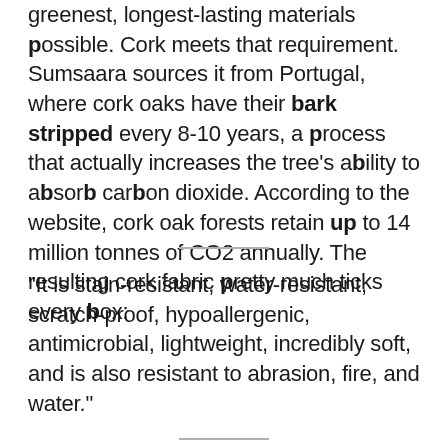greenest, longest-lasting materials possible. Cork meets that requirement. Sumsaara sources it from Portugal, where cork oaks have their bark stripped every 8-10 years, a process that actually increases the tree's ability to absorb carbon dioxide. According to the website, cork oak forests retain up to 14 million tonnes of CO2 annually. The resulting cork fabric pretty much ticks every box:
“It is stain-resistant, water-resistant, scratch-proof, hypoallergenic, antimicrobial, lightweight, incredibly soft, and is also resistant to abrasion, fire, and water.”